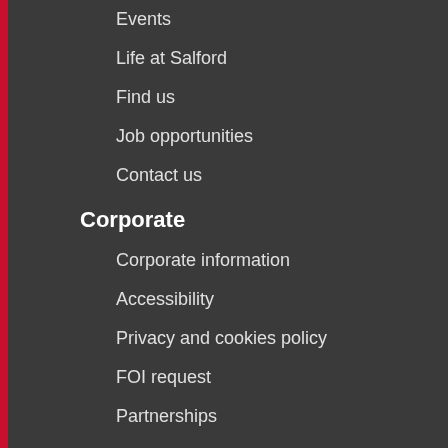Events
Life at Salford
Find us
Job opportunities
Contact us
Corporate
Corporate information
Accessibility
Privacy and cookies policy
FOI request
Partnerships
Our campus plan
More information
Library
Our schools
Students' Union
Alumni and supporters
Accommodation